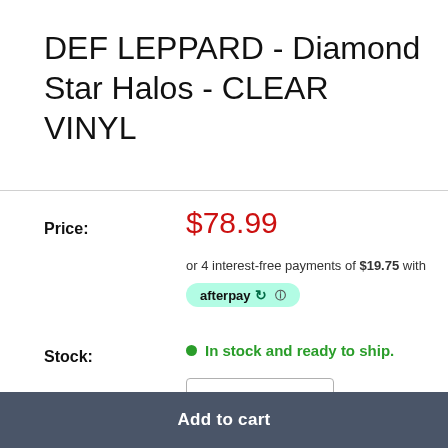DEF LEPPARD - Diamond Star Halos - CLEAR VINYL
Price: $78.99
or 4 interest-free payments of $19.75 with afterpay
Stock: In stock and ready to ship.
Quantity: 1
Add to cart